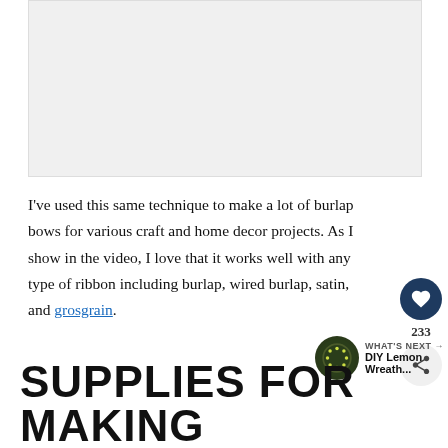[Figure (photo): Placeholder image area for a video or photo related to burlap bows]
I've used this same technique to make a lot of burlap bows for various craft and home decor projects. As I show in the video, I love that it works well with any type of ribbon including burlap, wired burlap, satin, and grosgrain.
[Figure (other): Heart/like button with count 233 and share button sidebar]
[Figure (other): WHAT'S NEXT arrow with DIY Lemon Wreath thumbnail and text]
SUPPLIES FOR MAKING